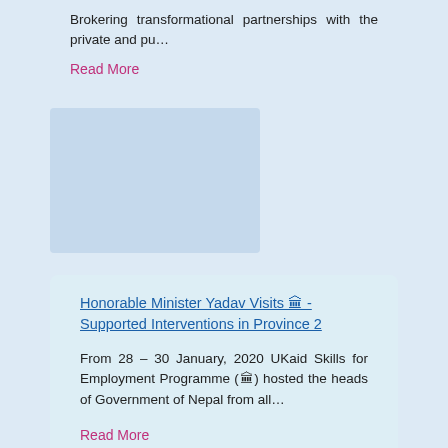Brokering transformational partnerships with the private and pu…
Read More
[Figure (photo): Placeholder image area for an article about minister visit]
Honorable Minister Yadav Visits 🏛️ - Supported Interventions in Province 2
From 28 – 30 January, 2020 UKaid Skills for Employment Programme (🏛️) hosted the heads of Government of Nepal from all…
Read More